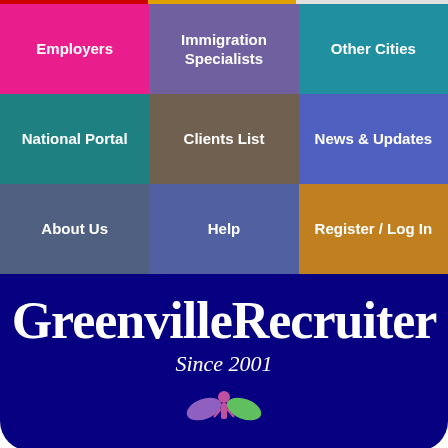[Figure (screenshot): Navigation grid with 9 colored cells: Employers (pink), Immigration Specialists (purple), Other Cities (teal), National Portal (teal-dark), Clients List (brown), News & Updates (blue), About Us (slate), Help (slate2), Register/Log In (gold)]
[Figure (logo): GreenvilleRecruiter logo in cursive white text on dark blue background with 'Since 2001' subtitle and decorative figure icon]
the smart solution for Greenville jobs
[Figure (infographic): Social media sharing buttons: Facebook, Messenger, Twitter, LinkedIn, Email, More (+)]